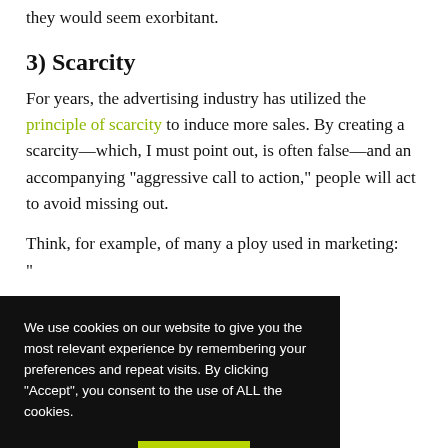they would seem exorbitant.
3) Scarcity
For years, the advertising industry has utilized the principle of scarcity to induce more sales. By creating a scarcity—which, I must point out, is often false—and an accompanying “aggressive call to action,” people will act to avoid missing out.
Think, for example, of many a ploy used in marketing: “[...]” By inventing a [...] that a product i[...] ...also found t[...] th too many c[...]
We use cookies on our website to give you the most relevant experience by remembering your preferences and repeat visits. By clicking “Accept”, you consent to the use of ALL the cookies.
Cookie settings
ACCEPT